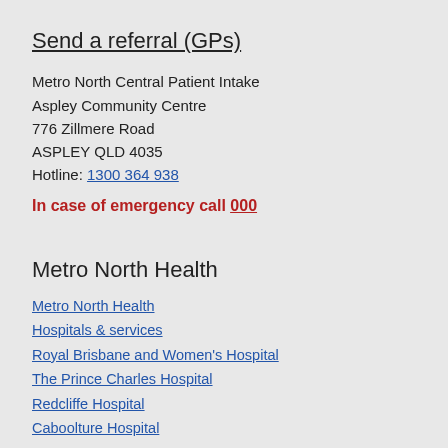Send a referral (GPs)
Metro North Central Patient Intake
Aspley Community Centre
776 Zillmere Road
ASPLEY QLD 4035
Hotline: 1300 364 938
In case of emergency call 000
Metro North Health
Metro North Health
Hospitals & services
Royal Brisbane and Women's Hospital
The Prince Charles Hospital
Redcliffe Hospital
Caboolture Hospital